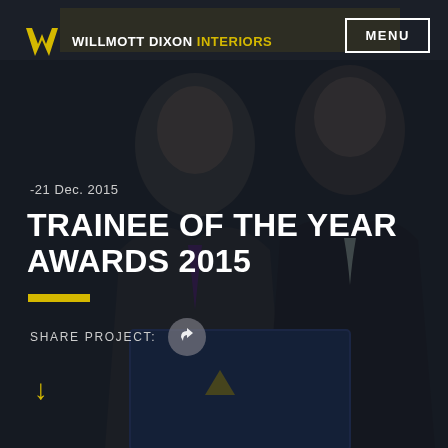[Figure (photo): Two men in suits holding a blue award folder/box, photographed at an awards ceremony]
WILLMOTT DIXON INTERIORS
MENU
-21 Dec. 2015
TRAINEE OF THE YEAR AWARDS 2015
SHARE PROJECT: